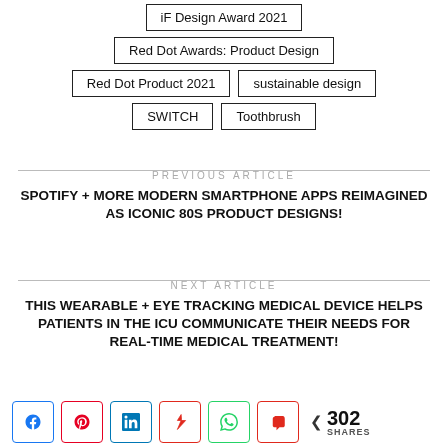iF Design Award 2021
Red Dot Awards: Product Design
Red Dot Product 2021
sustainable design
SWITCH
Toothbrush
PREVIOUS ARTICLE
SPOTIFY + MORE MODERN SMARTPHONE APPS REIMAGINED AS ICONIC 80S PRODUCT DESIGNS!
NEXT ARTICLE
THIS WEARABLE + EYE TRACKING MEDICAL DEVICE HELPS PATIENTS IN THE ICU COMMUNICATE THEIR NEEDS FOR REAL-TIME MEDICAL TREATMENT!
302 SHARES